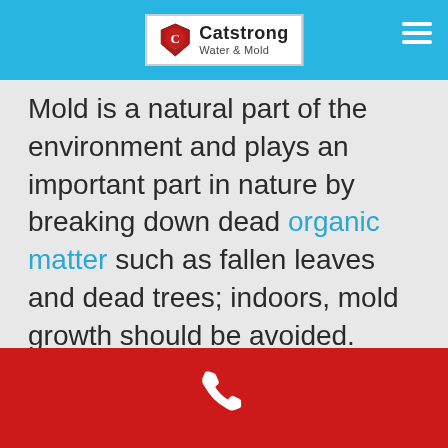Catstrong Water & Mold
Mold is a natural part of the environment and plays an important part in nature by breaking down dead organic matter such as fallen leaves and dead trees; indoors, mold growth should be avoided.
Luckily, mold spores only form mold when they land on a moist surface. That means that if you can keep the interior of your home dry, you can avoid having any problems or mold issues. The best way to prevent mold in your home is to clean up spills,
Phone contact footer